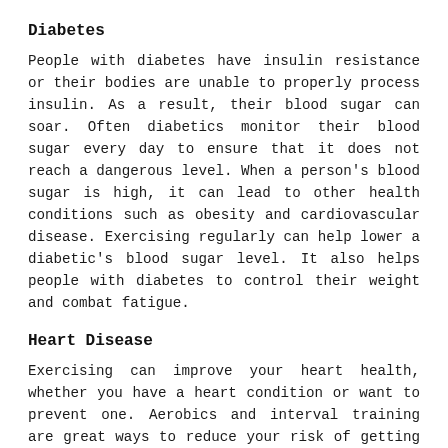Diabetes
People with diabetes have insulin resistance or their bodies are unable to properly process insulin. As a result, their blood sugar can soar. Often diabetics monitor their blood sugar every day to ensure that it does not reach a dangerous level. When a person's blood sugar is high, it can lead to other health conditions such as obesity and cardiovascular disease. Exercising regularly can help lower a diabetic's blood sugar level. It also helps people with diabetes to control their weight and combat fatigue.
Heart Disease
Exercising can improve your heart health, whether you have a heart condition or want to prevent one. Aerobics and interval training are great ways to reduce your risk of getting heart disease. People who have cardiovascular problems realize physical benefits from following the exercise program recommended by their doctors. Most doctors recommend aerobic exercise, such as the treadmill or fitness classes. The